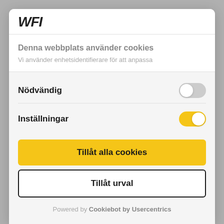[Figure (logo): WFI logo in bold italic text, dark color]
Denna webbplats använder cookies
Vi använder enhetsidentifierare för att anpassa
Nödvändig
Inställningar
Tillåt alla cookies
Tillåt urval
Powered by Cookiebot by Usercentrics